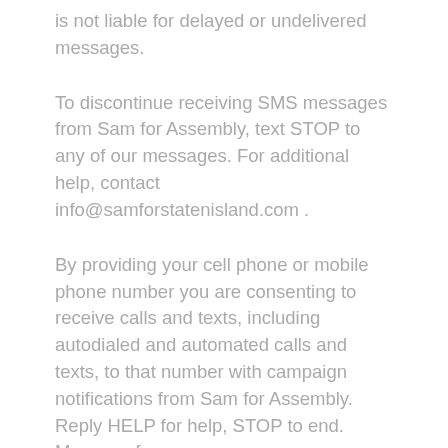is not liable for delayed or undelivered messages.
To discontinue receiving SMS messages from Sam for Assembly, text STOP to any of our messages. For additional help, contact info@samforstatenisland.com .
By providing your cell phone or mobile phone number you are consenting to receive calls and texts, including autodialed and automated calls and texts, to that number with campaign notifications from Sam for Assembly. Reply HELP for help, STOP to end. Message frequency may vary. Msg&DataRatesMayApply.